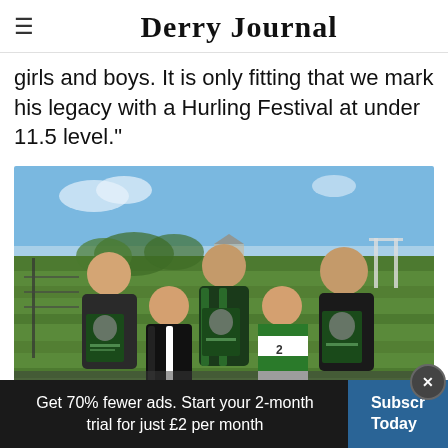Derry Journal
girls and boys. It is only fitting that we mark his legacy with a Hurling Festival at under 11.5 level."
[Figure (photo): Group photo of five people (three adults and two boys) on a GAA pitch holding event posters. They are wearing Gaelic sports jerseys in green, black and white. Blue sky and green grass in background.]
Get 70% fewer ads. Start your 2-month trial for just £2 per month
Subscribe Today